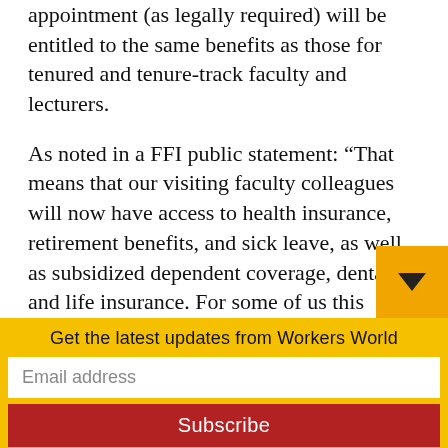appointment (as legally required) will be entitled to the same benefits as those for tenured and tenure-track faculty and lecturers.

As noted in a FFI public statement: “That means that our visiting faculty colleagues will now have access to health insurance, retirement benefits, and sick leave, as well as subsidized dependent coverage, dental, and life insurance. For some of us this means we’ll finally be able to insure our children,
Get the latest updates from Workers World
Email address
Subscribe